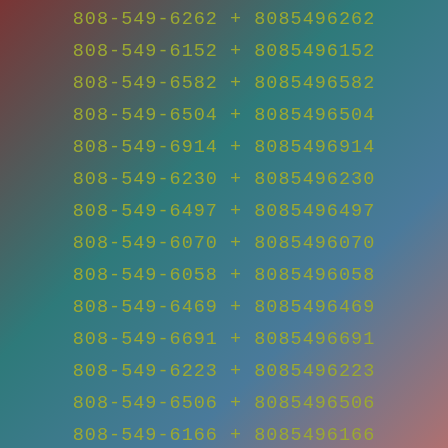808-549-6262 + 8085496262
808-549-6152 + 8085496152
808-549-6582 + 8085496582
808-549-6504 + 8085496504
808-549-6914 + 8085496914
808-549-6230 + 8085496230
808-549-6497 + 8085496497
808-549-6070 + 8085496070
808-549-6058 + 8085496058
808-549-6469 + 8085496469
808-549-6691 + 8085496691
808-549-6223 + 8085496223
808-549-6506 + 8085496506
808-549-6166 + 8085496166
808-549-6362 + 8085496362
808-549-6823 + 8085496823
808-549-6885 + 8085496885
808-549-6903 + 8085496903
808-549-6043 + 8085496043
808-549-6532 + 8085496532
808-549-6758 + 8085496758
808-549-6967 + 8085496967
808-549-6309 + 8085496309